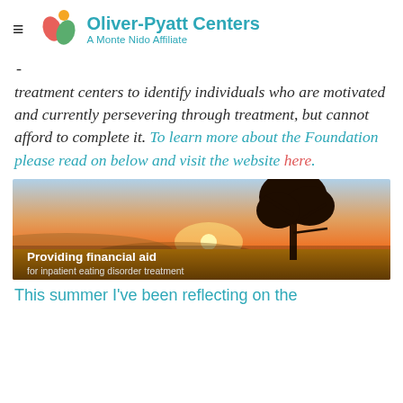Oliver-Pyatt Centers — A Monte Nido Affiliate
- treatment centers to identify individuals who are motivated and currently persevering through treatment, but cannot afford to complete it. To learn more about the Foundation please read on below and visit the website here.
[Figure (photo): Banner image of a lone tree silhouetted against an orange sunset sky over a golden field, with text overlay: 'Providing financial aid for inpatient eating disorder treatment']
This summer I've been reflecting on the